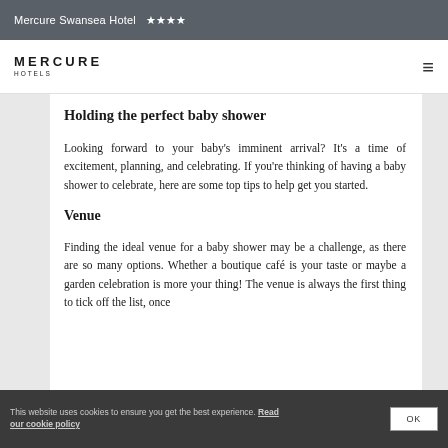Mercure Swansea Hotel ★★★★
[Figure (logo): Mercure Hotels logo with hamburger menu icon]
Holding the perfect baby shower
Looking forward to your baby's imminent arrival? It's a time of excitement, planning, and celebrating. If you're thinking of having a baby shower to celebrate, here are some top tips to help get you started.
Venue
Finding the ideal venue for a baby shower may be a challenge, as there are so many options. Whether a boutique café is your taste or maybe a garden celebration is more your thing! The venue is always the first thing to tick off the list, once
This website uses cookies to ensure you get the best experience. Read our cookie policy  OK